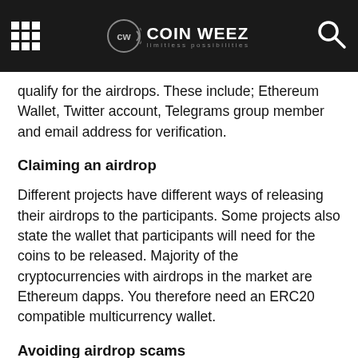COIN WEEZ — limitless possibilities
qualify for the airdrops. These include; Ethereum Wallet, Twitter account, Telegrams group member and email address for verification.
Claiming an airdrop
Different projects have different ways of releasing their airdrops to the participants. Some projects also state the wallet that participants will need for the coins to be released. Majority of the cryptocurrencies with airdrops in the market are Ethereum dapps. You therefore need an ERC20 compatible multicurrency wallet.
Avoiding airdrop scams
There are a lot of scammers in the cryptocurrency market. You need to be aware of certain factors before you get scammed in the name of airdrops. There are several red flags that can warn you of a scam: